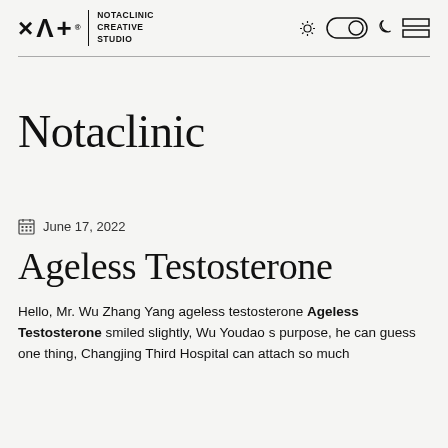× Λ + ® | NOTACLINIC CREATIVE STUDIO
Notaclinic
June 17, 2022
Ageless Testosterone
Hello, Mr. Wu Zhang Yang ageless testosterone Ageless Testosterone smiled slightly, Wu Youdao s purpose, he can guess one thing, Changjing Third Hospital can attach so much